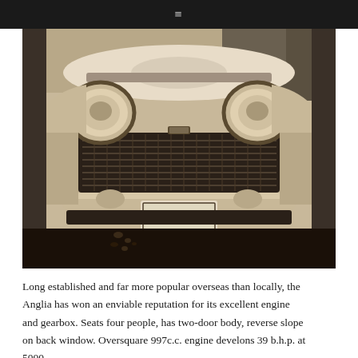≡
[Figure (photo): Black and white front-view photograph of a vintage Ford Anglia car with license plate DDA-436, showing the front grille, headlights, hood, and bumper.]
Long established and far more popular overseas than locally, the Anglia has won an enviable reputation for its excellent engine and gearbox. Seats four people, has two-door body, reverse slope on back window. Oversquare 997c.c. engine develons 39 b.h.p. at 5000